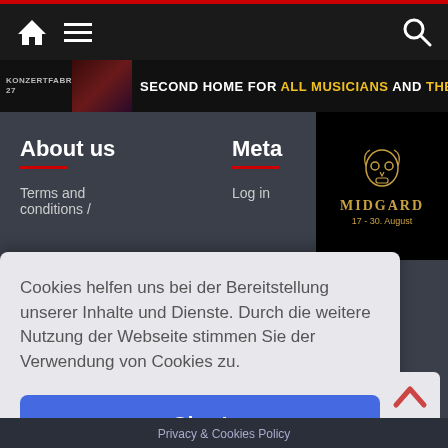[Figure (screenshot): Website navigation bar with home icon, hamburger menu, and search icon on dark background]
[Figure (screenshot): Banner advertisement: KONZERTFABRIK 27 - SECOND HOME FOR ALL MUSICIANS AND THEIR FANS]
About us
Meta
Terms and conditions /
Log in
[Figure (logo): Midgard festival logo with ornate mask, text MIDGARD, 17-30 August]
Cookies helfen uns bei der Bereitstellung unserer Inhalte und Dienste. Durch die weitere Nutzung der Webseite stimmen Sie der Verwendung von Cookies zu.
Okay!
Privacy & Cookies Policy